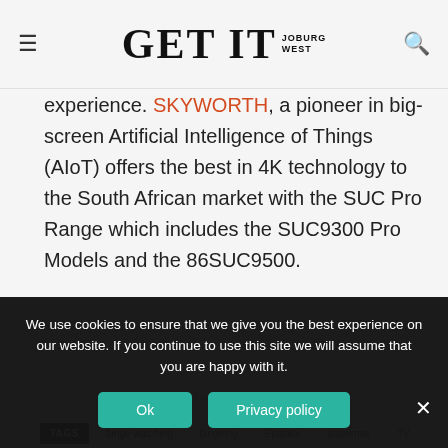GET IT JOBURG WEST
experience. SKYWORTH, a pioneer in big-screen Artificial Intelligence of Things (AIoT) offers the best in 4K technology to the South African market with the SUC Pro Range which includes the SUC9300 Pro Models and the 86SUC9500.
- Advertisement -
TAGS: binge watching | bingeing | Episode | showmax | TV
[Figure (infographic): Social sharing buttons: Facebook (blue), Twitter (cyan), Google+ (red), Pinterest (red), WhatsApp (green)]
We use cookies to ensure that we give you the best experience on our website. If you continue to use this site we will assume that you are happy with it.